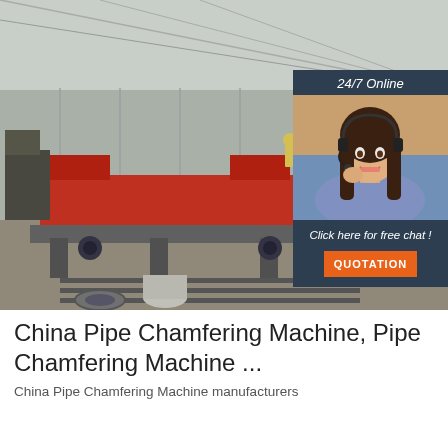[Figure (photo): Factory/warehouse interior showing industrial pipe chamfering machines on a production floor. Large red machinery visible, with a worker in the background. Steel roof structure visible above.]
[Figure (infographic): 24/7 Online chat widget overlay in dark blue/navy. Shows a smiling woman wearing a headset with text 'Click here for free chat!' and an orange QUOTATION button below.]
China Pipe Chamfering Machine, Pipe Chamfering Machine ...
China Pipe Chamfering Machine manufacturers